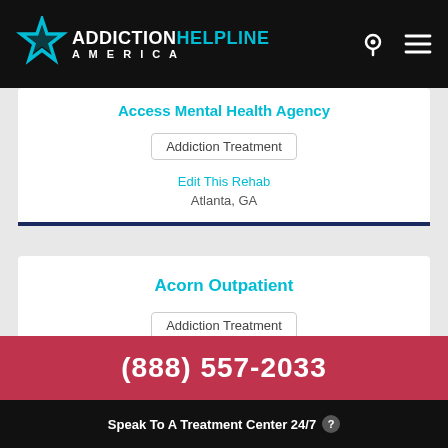[Figure (logo): Addiction Helpline America logo with star icon, white and cyan text on black header, search and menu icons on right]
Access Mental Health Agency
Addiction Treatment
Edit This Rehab
Atlanta, GA
Acorn Outpatient
Addiction Treatment
Edit This Rehab
(888) 557-2033
Speak To A Treatment Center 24/7